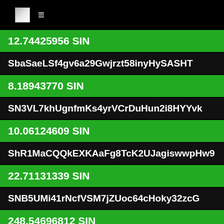≡
12.74425956 SIN
SbaSaeLSf4gv6a29Gwjrzt58inyHySASHT
8.18943770 SIN
SN3VL7khUgnfmKs4yrVCrDuHun2i8HYYvk
10.06124609 SIN
ShR1MaCQQkEXKAaFg8TcK2UJagiswwpHw9
22.71131339 SIN
SNB5UMi41rNcfVSM7jZUoc64cHoky32zcG
248.54696812 SIN
SdLBdUdnbZ2VveS8m371SDd7d9sXC2hNb1